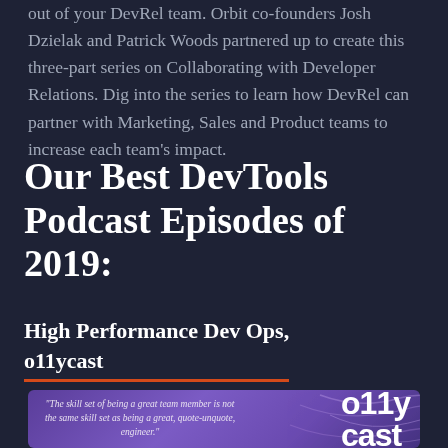out of your DevRel team. Orbit co-founders Josh Dzielak and Patrick Woods partnered up to create this three-part series on Collaborating with Developer Relations. Dig into the series to learn how DevRel can partner with Marketing, Sales and Product teams to increase each team's impact.
Our Best DevTools Podcast Episodes of 2019:
High Performance Dev Ops, o11ycast
[Figure (illustration): Purple gradient podcast card for o11ycast with italic quote: 'The skill set of being a great team member is not the same skill set as being a great, quote-unquote, engineer.' and o11y cast logo text on the right with decorative swirling lines]